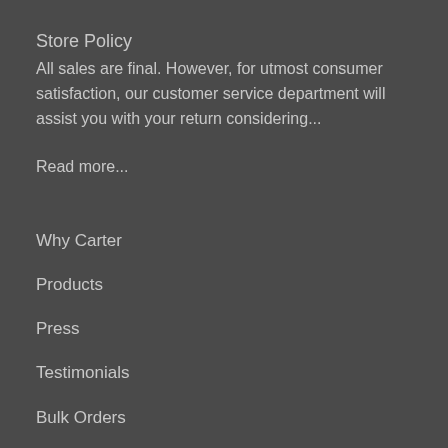Store Policy
All sales are final. However, for utmost consumer satisfaction, our customer service department will assist you with your return considering...
Read more...
Why Carter
Products
Press
Testimonials
Bulk Orders